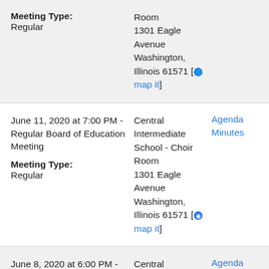Meeting Type: Regular
Central Intermediate School - Choir Room
1301 Eagle Avenue
Washington, Illinois 61571 [map it]
June 11, 2020 at 7:00 PM - Regular Board of Education Meeting
Meeting Type: Regular
Central Intermediate School - Choir Room
1301 Eagle Avenue
Washington, Illinois 61571 [map it]
Agenda
Minutes
June 8, 2020 at 6:00 PM - Special Meeting
Meeting Type: Regular
Central Intermediate School - Choir Room
Agenda
Minutes